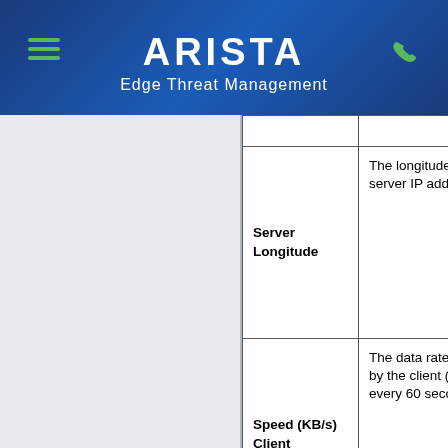ARISTA Edge Threat Management
| Field | Description |
| --- | --- |
| Server Longitude | The longitude of the server IP address. |
| Speed (KB/s) Client | The data rate of data sent by the client (updated every 60 seconds). |
| Speed (KB/s) Server | The data rate of data sent by the server (updated every 60 seconds). |